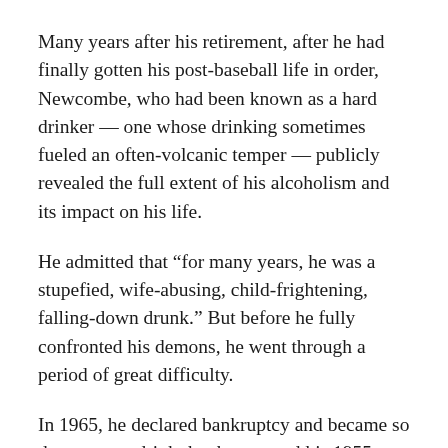Many years after his retirement, after he had finally gotten his post-baseball life in order, Newcombe, who had been known as a hard drinker — one whose drinking sometimes fueled an often-volcanic temper — publicly revealed the full extent of his alcoholism and its impact on his life.
He admitted that “for many years, he was a stupefied, wife-abusing, child-frightening, falling-down drunk.” But before he fully confronted his demons, he went through a period of great difficulty.
In 1965, he declared bankruptcy and became so desperate to drink that he pawned his 1955 World Series ring to pay for the habit.
His first marriage ended in 1960 but when his second wife threatened to leave and take their son, Don Jr. with